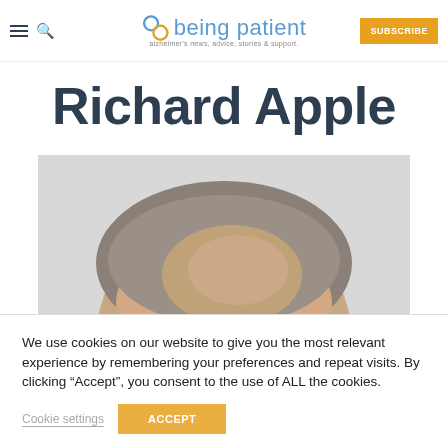being patient — alzheimer's news, advice, stories & support.
Richard Apple
[Figure (photo): Partial photo of a man's head (Richard Apple), showing the top and forehead, with short grey hair, against a light grey background.]
We use cookies on our website to give you the most relevant experience by remembering your preferences and repeat visits. By clicking “Accept”, you consent to the use of ALL the cookies.